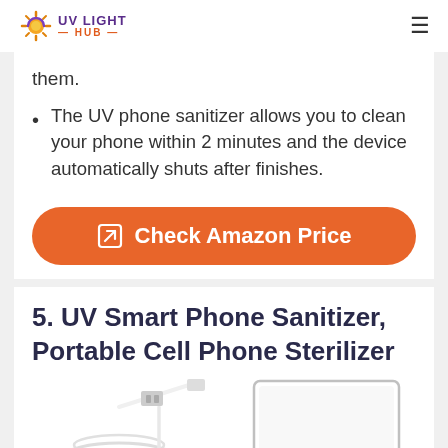UV LIGHT HUB
them.
The UV phone sanitizer allows you to clean your phone within 2 minutes and the device automatically shuts after finishes.
[Figure (other): Orange rounded button with external link icon and text 'Check Amazon Price']
5. UV Smart Phone Sanitizer, Portable Cell Phone Sterilizer
[Figure (photo): Partial product image showing UV phone sanitizer with USB cables and a rectangular device panel, white background]